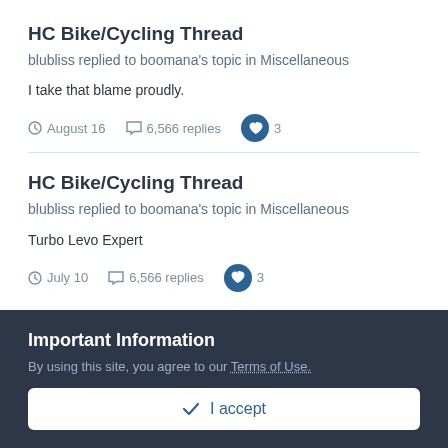HC Bike/Cycling Thread
blubliss replied to boomana's topic in Miscellaneous
I take that blame proudly.
August 16   6,566 replies   3
HC Bike/Cycling Thread
blubliss replied to boomana's topic in Miscellaneous
Turbo Levo Expert
July 10   6,566 replies   3
Important Information
By using this site, you agree to our Terms of Use.
✓ I accept